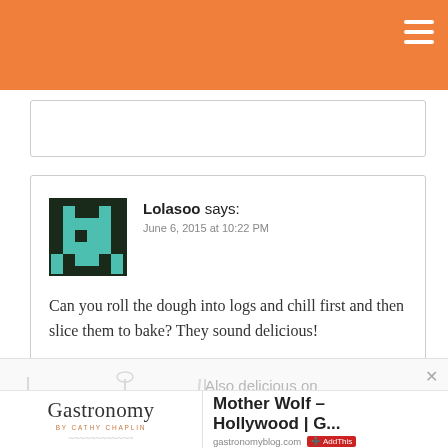Gastronomy blog header (orange bar with hamburger menu)
[Figure (screenshot): Pixel art avatar of a green character on dark background (comment user avatar for Lolasoo)]
Lolasoo says:
June 6, 2015 at 10:22 PM
Can you roll the dough into logs and chill first and then slice them to bake? They sound delicious!
[Figure (illustration): Food illustration banner showing kitchen tools and dishes in outline style with text 'Also delicious on Gastronomy...']
[Figure (logo): Gastronomy blog logo with text 'Gastronomy' and 'BY CATHY CHAPLIN' with decorative wavy lines]
Mother Wolf – Hollywood | G...
gastronomyblog.com